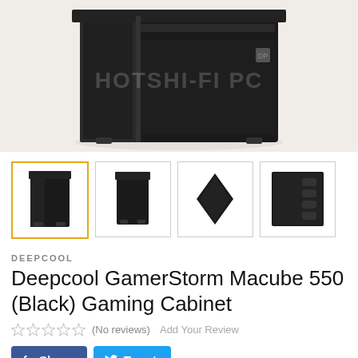[Figure (photo): Main product image of Deepcool GamerStorm Macube 550 black gaming PC case, top-angled view on light background with watermark HOTSHI-FI PC]
[Figure (photo): Four product thumbnail images: front view, side view, rear view, and internal view of the black gaming cabinet]
DEEPCOOL
Deepcool GamerStorm Macube 550 (Black) Gaming Cabinet
(No reviews)  Add Your Review
Share  Tweet
Available: In Stock